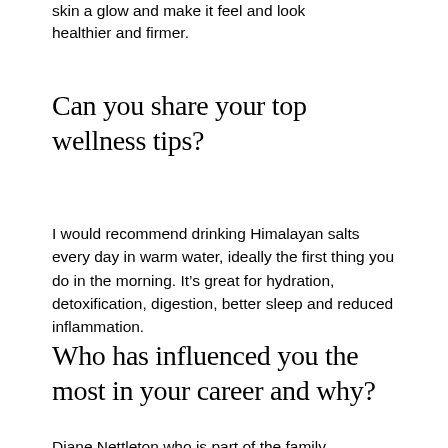skin a glow and make it feel and look healthier and firmer.
Can you share your top wellness tips?
I would recommend drinking Himalayan salts every day in warm water, ideally the first thing you do in the morning. It’s great for hydration, detoxification, digestion, better sleep and reduced inflammation.
Who has influenced you the most in your career and why?
Diane Nettleton who is part of the family